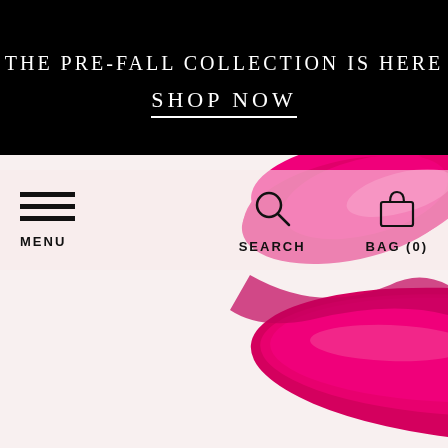THE PRE-FALL COLLECTION IS HERE
SHOP NOW
[Figure (screenshot): Navigation bar with hamburger menu icon labeled MENU on the left, search icon labeled SEARCH in the center, and shopping bag icon labeled BAG (0) on the right, overlaid on a product image]
[Figure (photo): Close-up of a bright magenta/hot pink lip gloss or lipstick product shot on a white background, showing glossy texture]
PATRICIA GR